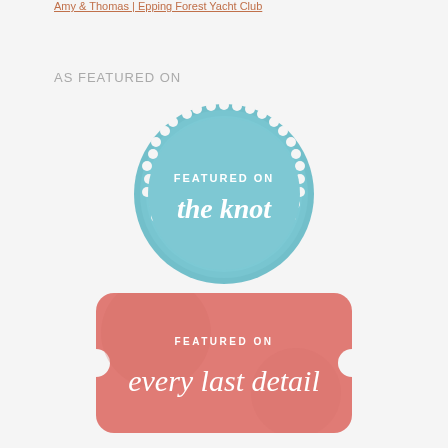Amy & Thomas | Epping Forest Yacht Club
AS FEATURED ON
[Figure (logo): Featured on The Knot badge — circular blue badge with scalloped edge, white text reading FEATURED ON the knot]
[Figure (logo): Featured on Every Last Detail badge — rounded rectangle coral/pink background, white text reading FEATURED ON every last detail in script font]